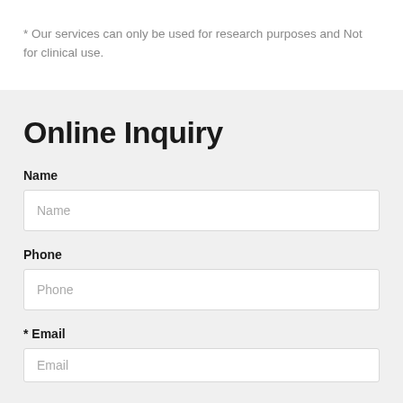* Our services can only be used for research purposes and Not for clinical use.
Online Inquiry
Name
Phone
* Email